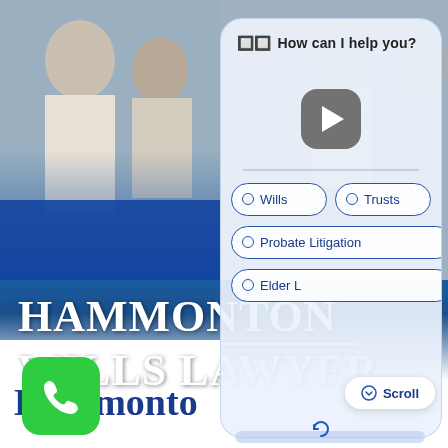[Figure (screenshot): Law firm website screenshot showing people in a professional meeting in the background, with a chatbot UI overlay on the right side]
HAMMONTON WILLS LAWYER
Hammonto
[Figure (screenshot): Chatbot panel with header 'How can I help you?', a play button, and radio button options: Wills, Trusts, Probate Litigation, Elder Law]
How can I help you?
Wills
Trusts
Probate Litigation
Elder L
Scroll